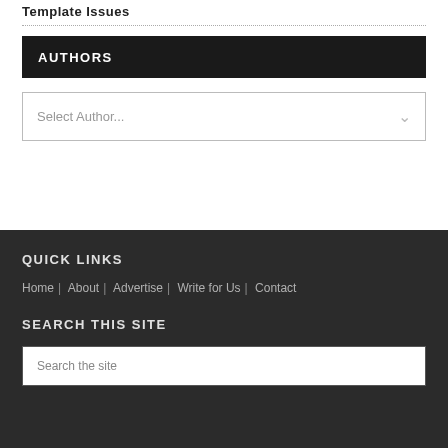Template Issues
AUTHORS
Select Author...
QUICK LINKS
Home | About | Advertise | Write for Us | Contact
SEARCH THIS SITE
Search the site